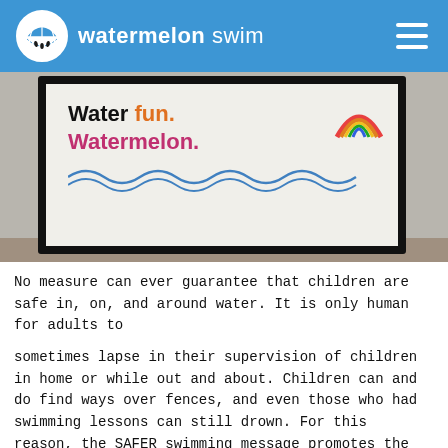watermelon swim
[Figure (photo): Photo of a whiteboard sign displaying 'Water Fun. Watermelon.' with drawn waves and a rainbow, placed on a tiled floor.]
No measure can ever guarantee that children are safe in, on, and around water. It is only human for adults to
sometimes lapse in their supervision of children in home or while out and about. Children can and do find ways over fences, and even those who had swimming lessons can still drown. For this reason, the SAFER swimming message promotes the application of various layers to protect children from drowning.